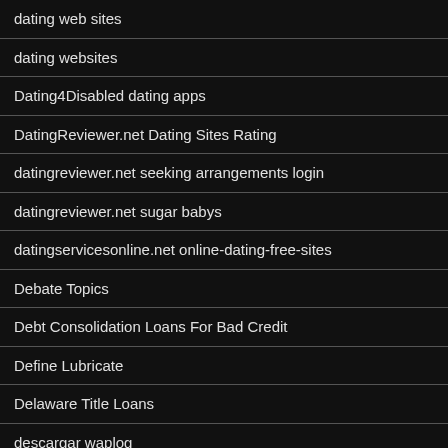dating web sites
dating websites
Dating4Disabled dating apps
DatingReviewer.net Dating Sites Rating
datingreviewer.net seeking arrangements login
datingreviewer.net sugar babys
datingservicesonline.net online-dating-free-sites
Debate Topics
Debt Consolidation Loans For Bad Credit
Define Lubricate
Delaware Title Loans
descargar waplog
detoxionis commenti